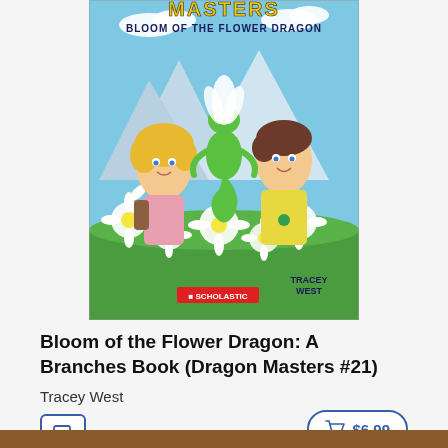[Figure (illustration): Book cover of 'Bloom of the Flower Dragon: A Branches Book (Dragon Masters #21)' by Tracey West, published by Scholastic. Shows two cartoon children with a small green dragon holding white flowers, set against mountains and a sky background with white flowers in the foreground.]
Bloom of the Flower Dragon: A Branches Book (Dragon Masters #21)
Tracey West
[Figure (other): Ebook icon button (e-reader symbol) in blue border box]
[Figure (other): Add to cart button showing shopping cart icon and price $6.99, in blue rounded border]